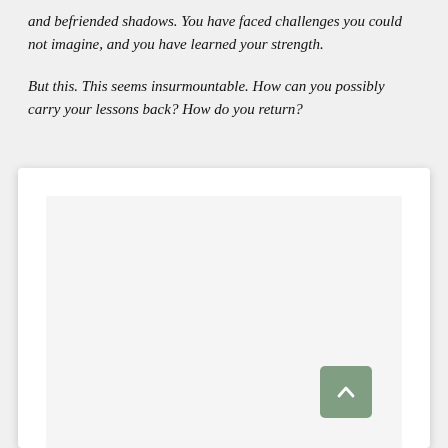and befriended shadows. You have faced challenges you could not imagine, and you have learned your strength.
But this. This seems insurmountable. How can you possibly carry your lessons back? How do you return?
[Figure (other): A white card/panel with shadow containing a light gray inner content area, and a muted green scroll-to-top button in the bottom right corner with an upward chevron arrow.]